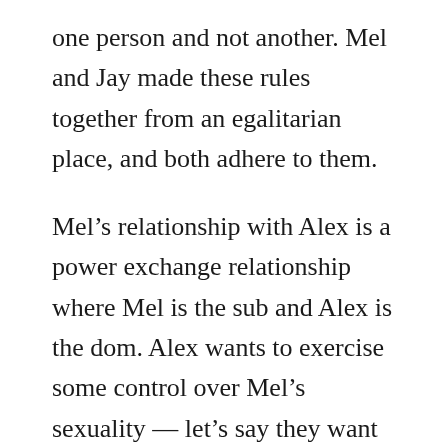one person and not another. Mel and Jay made these rules together from an egalitarian place, and both adhere to them.
Mel's relationship with Alex is a power exchange relationship where Mel is the sub and Alex is the dom. Alex wants to exercise some control over Mel's sexuality — let's say they want to restrict the use of Mel's ass so that only they can fuck it. But Jay doesn't want any restrictions on what they can or can't do with Mel.
The agreements within the D/s don't